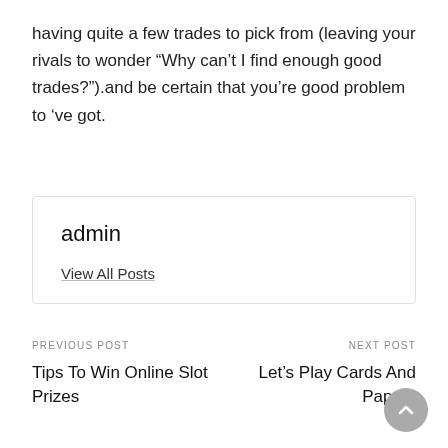having quite a few trades to pick from (leaving your rivals to wonder “Why can’t I find enough good trades?”).and be certain that you’re good problem to ‘ve got.
admin
View All Posts
PREVIOUS POST
NEXT POST
Tips To Win Online Slot Prizes
Let’s Play Cards And Papers